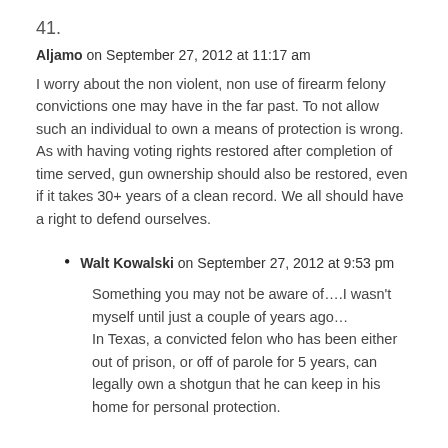41.
Aljamo on September 27, 2012 at 11:17 am
I worry about the non violent, non use of firearm felony convictions one may have in the far past. To not allow such an individual to own a means of protection is wrong. As with having voting rights restored after completion of time served, gun ownership should also be restored, even if it takes 30+ years of a clean record. We all should have a right to defend ourselves.
Walt Kowalski on September 27, 2012 at 9:53 pm
Something you may not be aware of….I wasn't myself until just a couple of years ago…
In Texas, a convicted felon who has been either out of prison, or off of parole for 5 years, can legally own a shotgun that he can keep in his home for personal protection.